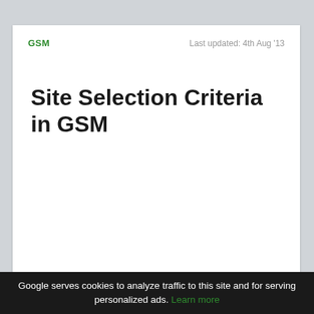GSM    Last updated: 4th Aug '13
Site Selection Criteria in GSM
Google serves cookies to analyze traffic to this site and for serving personalized ads. Learn more